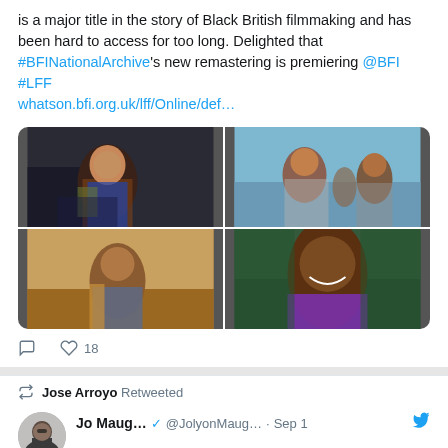( ... ) is a major title in the story of Black British filmmaking and has been hard to access for too long. Delighted that #BFINationalArchive's new remastering is premiering @BFI #LFF whatson.bfi.org.uk/lff/Online/def…
[Figure (photo): 2x2 grid of four movie stills/screenshots showing various people]
18 likes, reply and like icons
Jose Arroyo Retweeted
Jo Maug… @JolyonMaug… · Sep 1 — Festival of Brexit a spectacularly expensive flop at £504 for every visitor. Which is quite on brand, really.